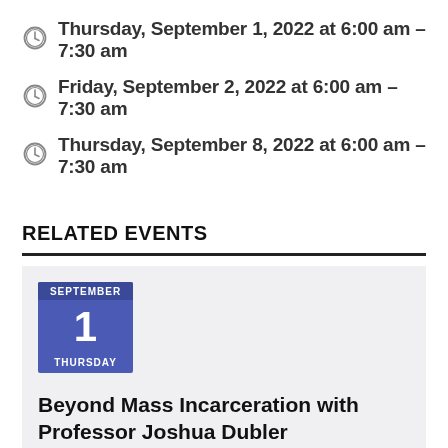Thursday, September 1, 2022 at 6:00 am – 7:30 am
Friday, September 2, 2022 at 6:00 am – 7:30 am
Thursday, September 8, 2022 at 6:00 am – 7:30 am
RELATED EVENTS
[Figure (other): Calendar badge showing September 1, Thursday]
Beyond Mass Incarceration with Professor Joshua Dubler